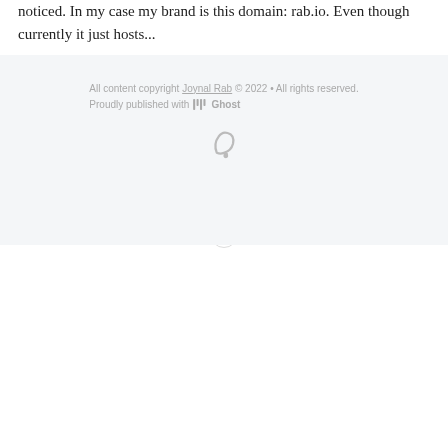noticed. In my case my brand is this domain: rab.io. Even though currently it just hosts...
Page 1 of 4
Older Posts →
All content copyright Joynal Rab © 2022 • All rights reserved. Proudly published with Ghost